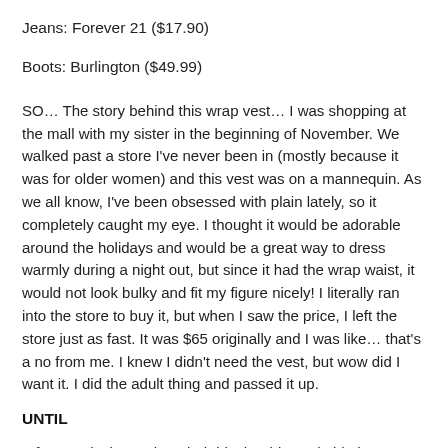Jeans: Forever 21 ($17.90)
Boots: Burlington ($49.99)
SO… The story behind this wrap vest… I was shopping at the mall with my sister in the beginning of November. We walked past a store I've never been in (mostly because it was for older women) and this vest was on a mannequin. As we all know, I've been obsessed with plain lately, so it completely caught my eye. I thought it would be adorable around the holidays and would be a great way to dress warmly during a night out, but since it had the wrap waist, it would not look bulky and fit my figure nicely! I literally ran into the store to buy it, but when I saw the price, I left the store just as fast. It was $65 originally and I was like… that's a no from me. I knew I didn't need the vest, but wow did I want it. I did the adult thing and passed it up.
UNTIL
A few weeks later when their black Friday sale hit that I saw it